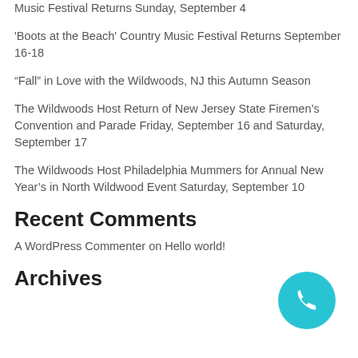Music Festival Returns Sunday, September 4
'Boots at the Beach' Country Music Festival Returns September 16-18
“Fall” in Love with the Wildwoods, NJ this Autumn Season
The Wildwoods Host Return of New Jersey State Firemen’s Convention and Parade Friday, September 16 and Saturday, September 17
The Wildwoods Host Philadelphia Mummers for Annual New Year’s in North Wildwood Event Saturday, September 10
Recent Comments
A WordPress Commenter on Hello world!
Archives